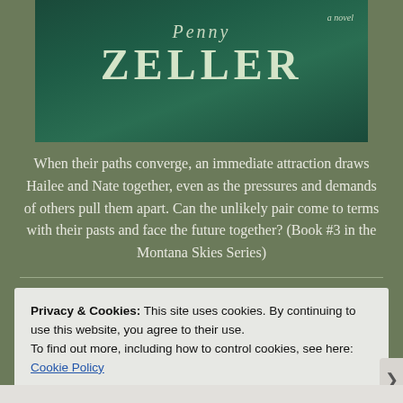[Figure (illustration): Book cover for a novel by Penny Zeller, with dark green background, author name 'Penny' in italic script and 'ZELLER' in large serif capitals, with 'a novel' in italic top right]
When their paths converge, an immediate attraction draws Hailee and Nate together, even as the pressures and demands of others pull them apart. Can the unlikely pair come to terms with their pasts and face the future together? (Book #3 in the Montana Skies Series)
Privacy & Cookies: This site uses cookies. By continuing to use this website, you agree to their use.
To find out more, including how to control cookies, see here:
Cookie Policy
Close and accept